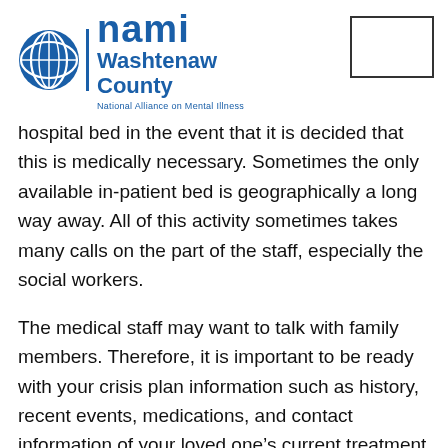[Figure (logo): NAMI Washtenaw County logo with National Alliance on Mental Illness tagline and a postage stamp box in top right]
hospital bed in the event that it is decided that this is medically necessary. Sometimes the only available in-patient bed is geographically a long way away. All of this activity sometimes takes many calls on the part of the staff, especially the social workers.
The medical staff may want to talk with family members. Therefore, it is important to be ready with your crisis plan information such as history, recent events, medications, and contact information of your loved one's current treatment providers. If the staff does not seek your input, it will be important to advocate for it. In some cases, it is a good idea to